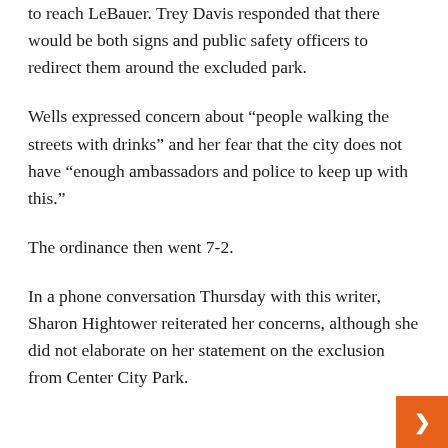to reach LeBauer. Trey Davis responded that there would be both signs and public safety officers to redirect them around the excluded park.
Wells expressed concern about “people walking the streets with drinks” and her fear that the city does not have “enough ambassadors and police to keep up with this.”
The ordinance then went 7-2.
In a phone conversation Thursday with this writer, Sharon Hightower reiterated her concerns, although she did not elaborate on her statement on the exclusion from Center City Park.